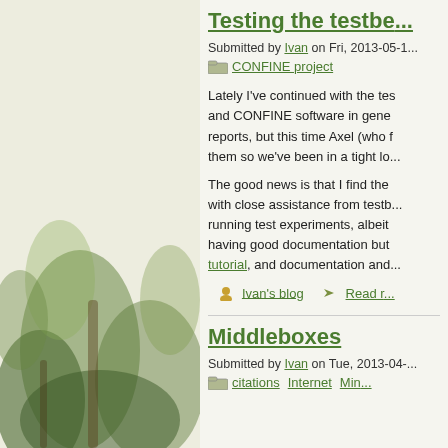[Figure (photo): Left panel with a green/nature themed decorative image or sidebar background]
Testing the testbe...
Submitted by Ivan on Fri, 2013-05-1...
CONFINE project
Lately I've continued with the tes... and CONFINE software in gene... reports, but this time Axel (who f... them so we've been in a tight lo...
The good news is that I find the... with close assistance from testb... running test experiments, albeit... having good documentation but... tutorial, and documentation and...
Ivan's blog   Read r...
Middleboxes
Submitted by Ivan on Tue, 2013-04-...
citations   Internet   Min...